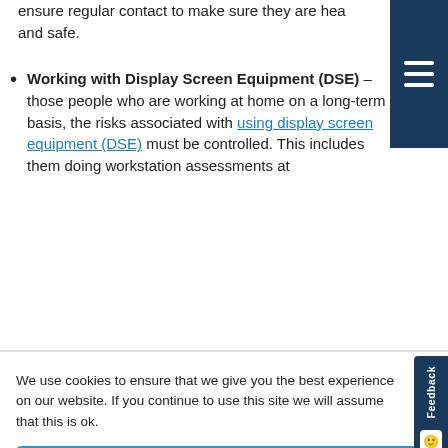ensure regular contact to make sure they are healthy and safe.
Working with Display Screen Equipment (DSE) – those people who are working at home on a long-term basis, the risks associated with using display screen equipment (DSE) must be controlled. This includes them doing workstation assessments at
We use cookies to ensure that we give you the best experience on our website. If you continue to use this site we will assume that this is ok.
Accept
Deny
Preferences
Cookie Policy  Privacy Policy